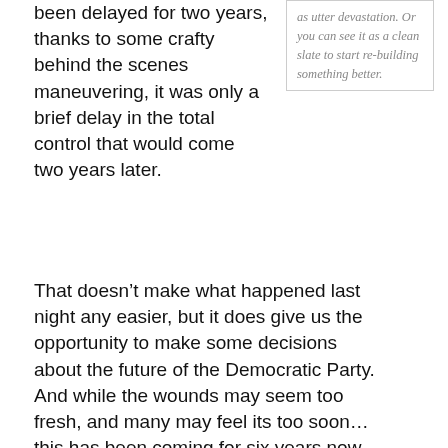been delayed for two years, thanks to some crafty behind the scenes maneuvering, it was only a brief delay in the total control that would come two years later.
as utter devastation. Or you can see it as a clean slate to start re-building something better.
That doesn’t make what happened last night any easier, but it does give us the opportunity to make some decisions about the future of the Democratic Party. And while the wounds may seem too fresh, and many may feel its too soon…this has been coming for six years now. No one should be surprised.
Where do we go from here?
I’ve waxed eloquent several times in this space about things the party, and progressives either in or outside the party, can do to try and turn things around